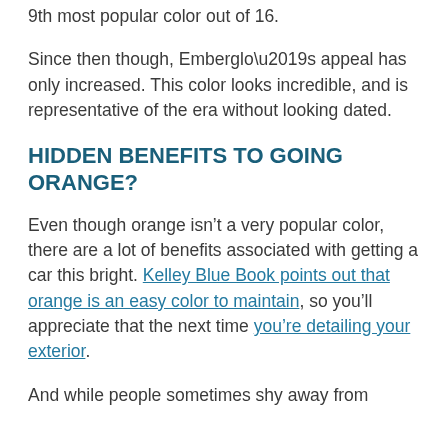9th most popular color out of 16.
Since then though, Emberglo’s appeal has only increased. This color looks incredible, and is representative of the era without looking dated.
HIDDEN BENEFITS TO GOING ORANGE?
Even though orange isn’t a very popular color, there are a lot of benefits associated with getting a car this bright. Kelley Blue Book points out that orange is an easy color to maintain, so you’ll appreciate that the next time you’re detailing your exterior.
And while people sometimes shy away from